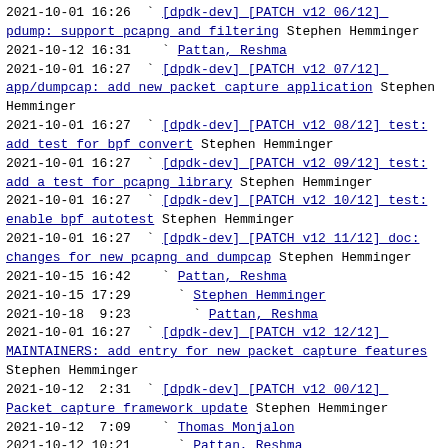2021-10-01 16:26  ` [dpdk-dev] [PATCH v12 06/12] pdump: support pcapng and filtering Stephen Hemminger
2021-10-12 16:31    ` Pattan, Reshma
2021-10-01 16:27  ` [dpdk-dev] [PATCH v12 07/12] app/dumpcap: add new packet capture application Stephen Hemminger
2021-10-01 16:27  ` [dpdk-dev] [PATCH v12 08/12] test: add test for bpf convert Stephen Hemminger
2021-10-01 16:27  ` [dpdk-dev] [PATCH v12 09/12] test: add a test for pcapng library Stephen Hemminger
2021-10-01 16:27  ` [dpdk-dev] [PATCH v12 10/12] test: enable bpf autotest Stephen Hemminger
2021-10-01 16:27  ` [dpdk-dev] [PATCH v12 11/12] doc: changes for new pcapng and dumpcap Stephen Hemminger
2021-10-15 16:42    ` Pattan, Reshma
2021-10-15 17:29      ` Stephen Hemminger
2021-10-18  9:23        ` Pattan, Reshma
2021-10-01 16:27  ` [dpdk-dev] [PATCH v12 12/12] MAINTAINERS: add entry for new packet capture features Stephen Hemminger
2021-10-12  2:31  ` [dpdk-dev] [PATCH v12 00/12] Packet capture framework update Stephen Hemminger
2021-10-12  7:09    ` Thomas Monjalon
2021-10-12 10:21      ` Pattan, Reshma
2021-10-12 15:44        ` Stephen Hemminger
2021-10-12 15:48          ` Thomas Monjalon
2021-10-12 18:00            ` Stephen Hemminger
2021-10-12 18:22              ` Thomas Monjalon
2021-10-13  8:44                ` Pattan, Reshma
2021-10-15 18:28  ` [dpdk-dev] [PATCH v13 " Stephen